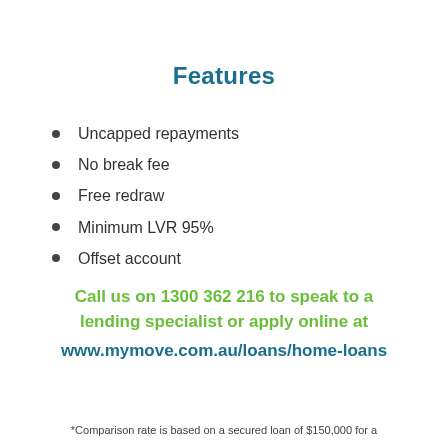Features
Uncapped repayments
No break fee
Free redraw
Minimum LVR 95%
Offset account
Call us on 1300 362 216 to speak to a lending specialist or apply online at www.mymove.com.au/loans/home-loans
*Comparison rate is based on a secured loan of $150,000 for a